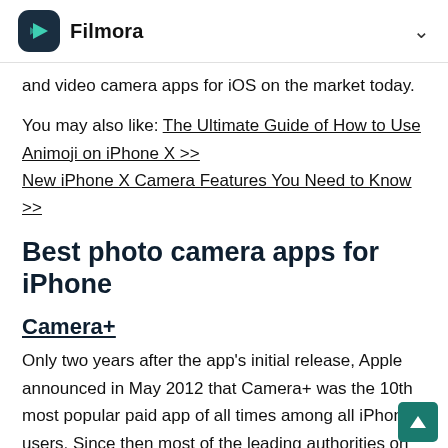Filmora
and video camera apps for iOS on the market today.
You may also like: The Ultimate Guide of How to Use Animoji on iPhone X >>
New iPhone X Camera Features You Need to Know >>
Best photo camera apps for iPhone
Camera+
Only two years after the app's initial release, Apple announced in May 2012 that Camera+ was the 10th most popular paid app of all times among all iPhone users. Since then most of the leading authorities on the subject described it as a must have app that serves as